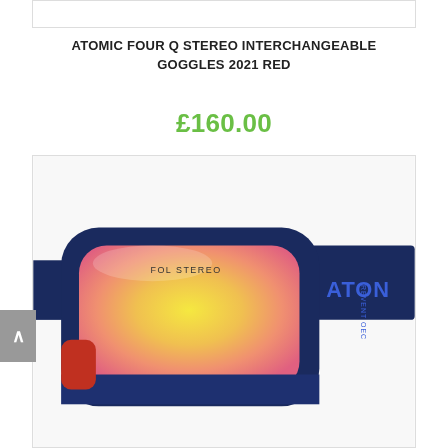[Figure (photo): Empty white product image placeholder box at the top]
ATOMIC FOUR Q STEREO INTERCHANGEABLE GOGGLES 2021 RED
£160.00
[Figure (photo): Close-up photo of Atomic Four Q Stereo ski goggles with dark navy blue frame and pink/yellow mirrored lens, showing 'FOL STEREO' text on lens and 'ATOMIC' branding on strap]